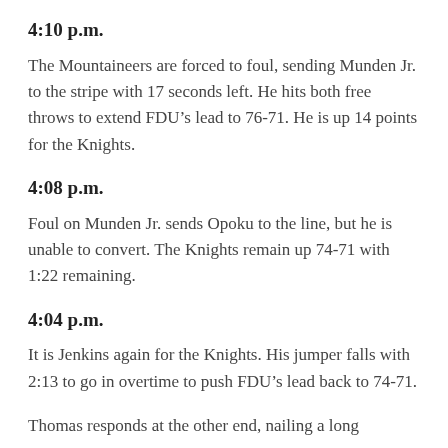4:10 p.m.
The Mountaineers are forced to foul, sending Munden Jr. to the stripe with 17 seconds left. He hits both free throws to extend FDU’s lead to 76-71. He is up 14 points for the Knights.
4:08 p.m.
Foul on Munden Jr. sends Opoku to the line, but he is unable to convert. The Knights remain up 74-71 with 1:22 remaining.
4:04 p.m.
It is Jenkins again for the Knights. His jumper falls with 2:13 to go in overtime to push FDU’s lead back to 74-71.
Thomas responds at the other end, nailing a long